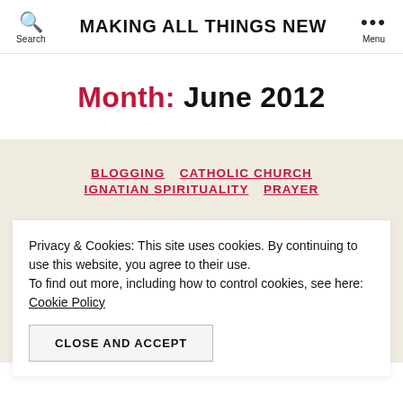MAKING ALL THINGS NEW
Month: June 2012
BLOGGING  CATHOLIC CHURCH  IGNATIAN SPIRITUALITY  PRAYER
Privacy & Cookies: This site uses cookies. By continuing to use this website, you agree to their use. To find out more, including how to control cookies, see here: Cookie Policy
CLOSE AND ACCEPT